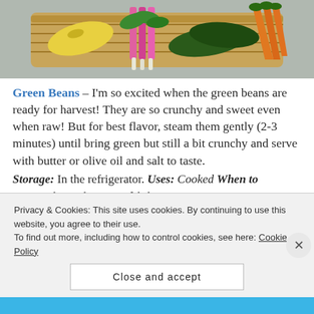[Figure (photo): Wicker basket filled with fresh vegetables including yellow squash, pink/red chard with white stems, dark green cucumbers/zucchini, and orange carrots on a grey surface.]
Green Beans – I'm so excited when the green beans are ready for harvest!  They are so crunchy and sweet even when raw!  But for best flavor, steam them gently (2-3 minutes) until bring green but still a bit crunchy and serve with butter or olive oil and salt to taste.
Storage: In the refrigerator. Uses: Cooked When to use: Within 3 days Zucchini
Privacy & Cookies: This site uses cookies. By continuing to use this website, you agree to their use.
To find out more, including how to control cookies, see here: Cookie Policy
Close and accept